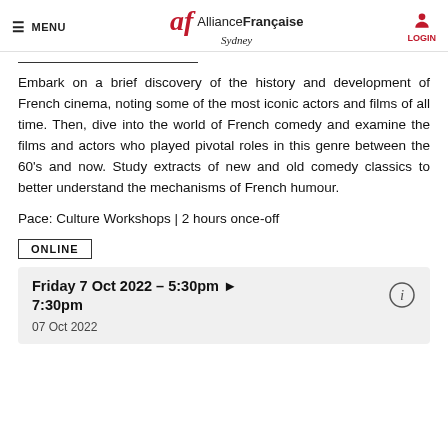≡ MENU | Alliance Française Sydney | LOGIN
Embark on a brief discovery of the history and development of French cinema, noting some of the most iconic actors and films of all time. Then, dive into the world of French comedy and examine the films and actors who played pivotal roles in this genre between the 60's and now. Study extracts of new and old comedy classics to better understand the mechanisms of French humour.
Pace: Culture Workshops | 2 hours once-off
ONLINE
Friday 7 Oct 2022 – 5:30pm ▶ 7:30pm
07 Oct 2022